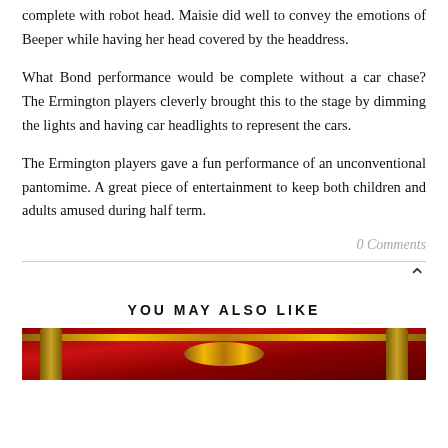complete with robot head. Maisie did well to convey the emotions of Beeper while having her head covered by the headdress.
What Bond performance would be complete without a car chase? The Ermington players cleverly brought this to the stage by dimming the lights and having car headlights to represent the cars.
The Ermington players gave a fun performance of an unconventional pantomime. A great piece of entertainment to keep both children and adults amused during half term.
0 Comments
YOU MAY ALSO LIKE
[Figure (photo): Decorative image banner with red draped curtains and gold ornamental elements, partially visible at bottom of page]